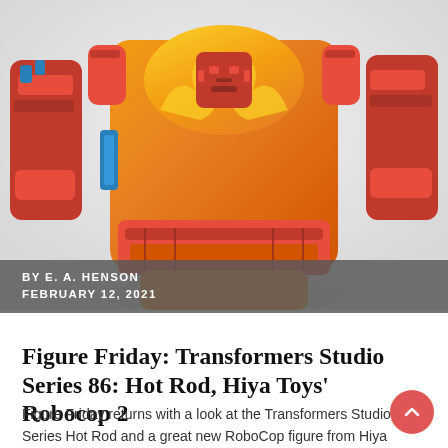[Figure (photo): Close-up photo of a Transformers Hot Rod action figure showing the orange and red robot torso with Autobot logo, yellow flame details on the chest, red arms and waist area against a light background]
BY E. A. HENSON
FEBRUARY 12, 2021
Figure Friday: Transformers Studio Series 86: Hot Rod, Hiya Toys' Robocop 2
Figure Friday returns with a look at the Transformers Studio Series Hot Rod and a great new RoboCop figure from Hiya Toys.